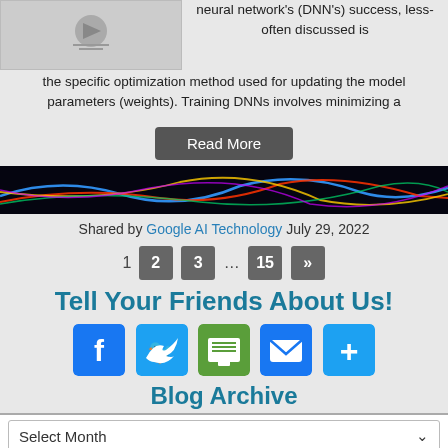[Figure (photo): Thumbnail image placeholder (gray box with icon)]
neural network's (DNN's) success, less-often discussed is the specific optimization method used for updating the model parameters (weights). Training DNNs involves minimizing a
Read More
[Figure (photo): Dark banner with colorful light streaks]
Shared by Google AI Technology July 29, 2022
1 2 3 ... 15 »
Tell Your Friends About Us!
[Figure (infographic): Social share icons: Facebook, Twitter, Print, Email, Plus]
Blog Archive
Select Month
Tags
After Action Review Archive asking case study cognitivie bias communication communities of practice culture